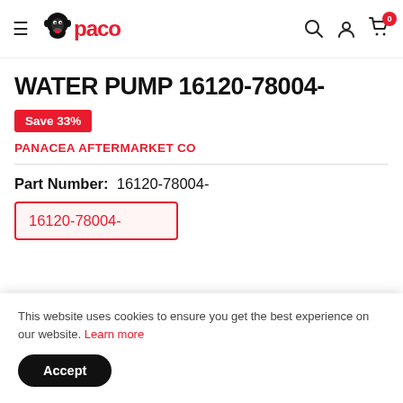PACO navigation header with hamburger menu, logo, search, account, and cart icons
WATER PUMP 16120-78004-
Save 33%
PANACEA AFTERMARKET CO
Part Number: 16120-78004-
16120-78004-
This website uses cookies to ensure you get the best experience on our website. Learn more
Accept